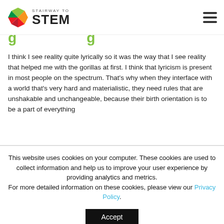[Figure (logo): Stairway to STEM logo with colorful pinwheel icon]
I think I see reality quite lyrically so it was the way that I see reality that helped me with the gorillas at first. I think that lyricism is present in most people on the spectrum. That's why when they interface with a world that's very hard and materialistic, they need rules that are unshakable and unchangeable, because their birth orientation is to be a part of everything
This website uses cookies on your computer. These cookies are used to collect information and help us to improve your user experience by providing analytics and metrics. For more detailed information on these cookies, please view our Privacy Policy.
Accept